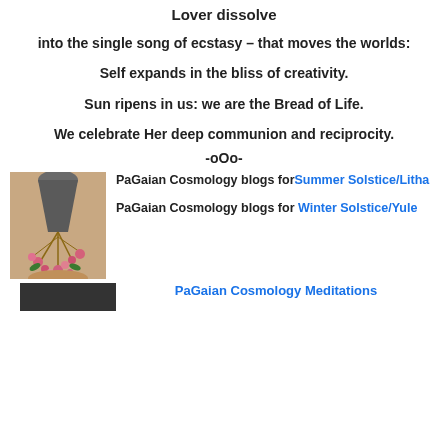Lover dissolve
into the single song of ecstasy – that moves the worlds:
Self expands in the bliss of creativity.
Sun ripens in us: we are the Bread of Life.
We celebrate Her deep communion and reciprocity.
-oOo-
[Figure (photo): Hand holding a bouquet of flowers cascading downward]
PaGaian Cosmology blogs forSummer Solstice/Litha

PaGaian Cosmology blogs for Winter Solstice/Yule
PaGaian Cosmology Meditations